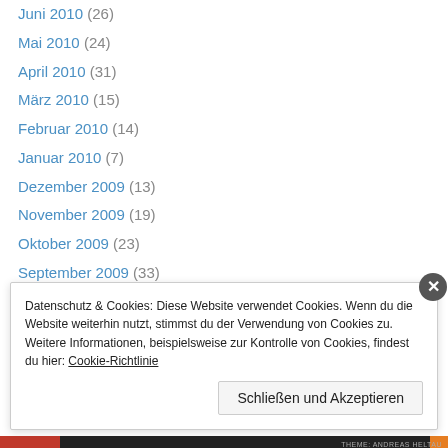Juni 2010 (26)
Mai 2010 (24)
April 2010 (31)
März 2010 (15)
Februar 2010 (14)
Januar 2010 (7)
Dezember 2009 (13)
November 2009 (19)
Oktober 2009 (23)
September 2009 (33)
August 2009 (22)
Juli 2009 (31)
Juni 2009 (22)
Mai 2009 (39)
Datenschutz & Cookies: Diese Website verwendet Cookies. Wenn du die Website weiterhin nutzt, stimmst du der Verwendung von Cookies zu. Weitere Informationen, beispielsweise zur Kontrolle von Cookies, findest du hier: Cookie-Richtlinie
Schließen und Akzeptieren